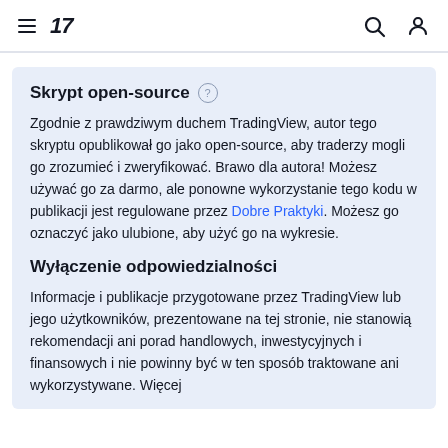TradingView header with hamburger menu, TV logo, search icon, and user icon
Skrypt open-source
Zgodnie z prawdziwym duchem TradingView, autor tego skryptu opublikował go jako open-source, aby traderzy mogli go zrozumieć i zweryfikować. Brawo dla autora! Możesz używać go za darmo, ale ponowne wykorzystanie tego kodu w publikacji jest regulowane przez Dobre Praktyki. Możesz go oznaczyć jako ulubione, aby użyć go na wykresie.
Wyłączenie odpowiedzialności
Informacje i publikacje przygotowane przez TradingView lub jego użytkowników, prezentowane na tej stronie, nie stanowią rekomendacji ani porad handlowych, inwestycyjnych i finansowych i nie powinny być w ten sposób traktowane ani wykorzystywane. Więcej